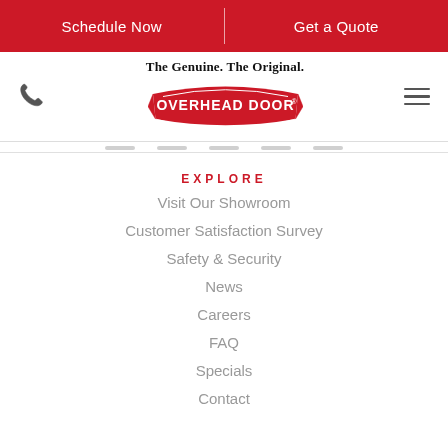Schedule Now | Get a Quote
[Figure (logo): Overhead Door logo with tagline 'The Genuine. The Original.' and phone/hamburger icons]
EXPLORE
Visit Our Showroom
Customer Satisfaction Survey
Safety & Security
News
Careers
FAQ
Specials
Contact